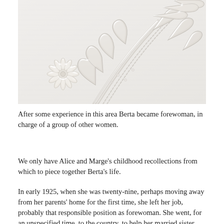[Figure (photo): Close-up photograph of white embroidered fabric showing intricate raised floral and leaf/branch embroidery patterns on white textile background. A daisy-like flower is visible on the left and branch/fern-like embroidery extends across the image.]
After some experience in this area Berta became forewoman, in charge of a group of other women.
We only have Alice and Marge's childhood recollections from which to piece together Berta's life.
In early 1925, when she was twenty-nine, perhaps moving away from her parents' home for the first time, she left her job, probably that responsible position as forewoman. She went, for an unspecified time, to the country, to help her married sister with a toddler and a baby, and to help serve in her brother in law's hardware shop.